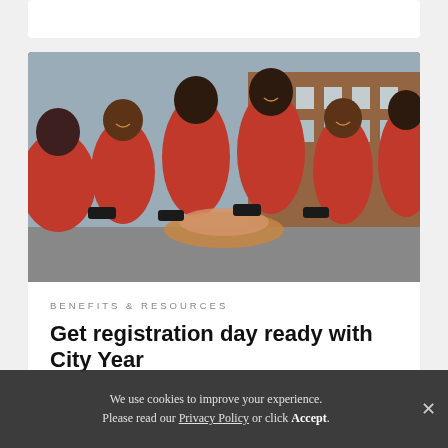[Figure (photo): Group of young people in red City Year jackets putting their hands together in a team huddle outdoors in front of a brick building]
BENEFITS & RESOURCES
Get registration day ready with City Year
We use cookies to improve your experience. Please read our Privacy Policy or click Accept.